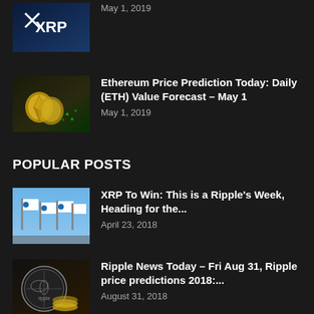[Figure (photo): XRP cryptocurrency logo on dark blue digital background]
May 1, 2019
[Figure (photo): Ethereum coins with green digital background]
Ethereum Price Prediction Today: Daily (ETH) Value Forecast – May 1
May 1, 2019
POPULAR POSTS
[Figure (photo): Ripple XRP flags waving in blue sky]
XRP To Win: This is a Ripple's Week, Heading for the...
April 23, 2018
[Figure (photo): Ripple XRP coin with world map on dark background]
Ripple News Today – Fri Aug 31, Ripple price predictions 2018:...
August 31, 2018
[Figure (photo): Ripple XRP coin with world map]
It Is Now Legal for Ripple XRP to Be Listed on...